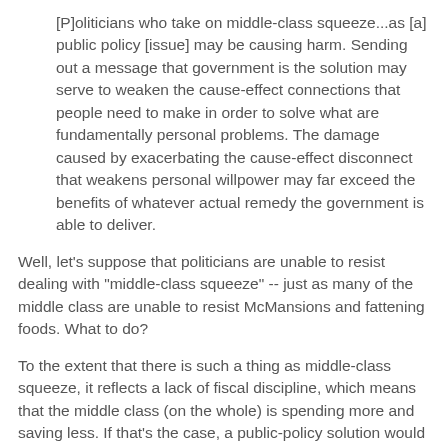[P]oliticians who take on middle-class squeeze...as [a] public policy [issue] may be causing harm. Sending out a message that government is the solution may serve to weaken the cause-effect connections that people need to make in order to solve what are fundamentally personal problems. The damage caused by exacerbating the cause-effect disconnect that weakens personal willpower may far exceed the benefits of whatever actual remedy the government is able to deliver.
Well, let's suppose that politicians are unable to resist dealing with "middle-class squeeze" -- just as many of the middle class are unable to resist McMansions and fattening foods. What to do?
To the extent that there is such a thing as middle-class squeeze, it reflects a lack of fiscal discipline, which means that the middle class (on the whole) is spending more and saving less. If that's the case, a public-policy solution would be to (1) increase taxes on consumption (perhaps by levying